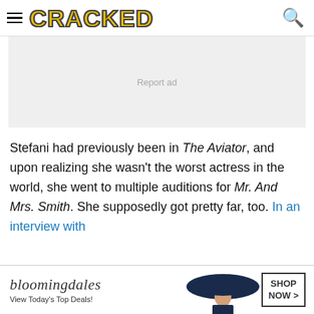CRACKED
[Figure (other): Ad placeholder area with light gray background and 'Report ad' text]
Stefani had previously been in The Aviator, and upon realizing she wasn't the worst actress in the world, she went to multiple auditions for Mr. And Mrs. Smith. She supposedly got pretty far, too. In an interview with
[Figure (other): Bloomingdale's advertisement banner with woman in hat, 'View Today's Top Deals!' text and SHOP NOW > button]